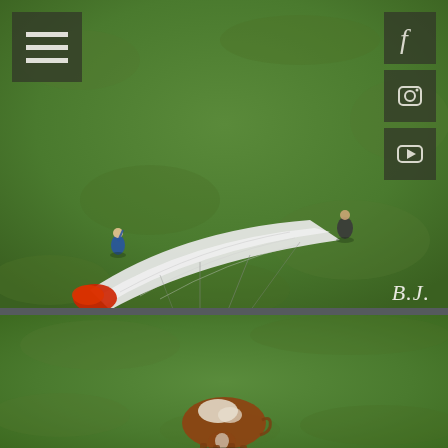[Figure (photo): Aerial drone view of a green grassy field with a paraglider having landed. A white parachute canopy is laid out on the ground stretching from left to right. A person in blue stands at the left, someone holds the canopy at the top-right, and a paraglider pilot with harness and helmet stands in the center. Red accents visible at the far left of the canopy. Watermark 'B.J.' in bottom-right corner.]
[Figure (photo): Aerial drone view of a green grassy field with a single brown and white cow walking near the bottom-center of the frame.]